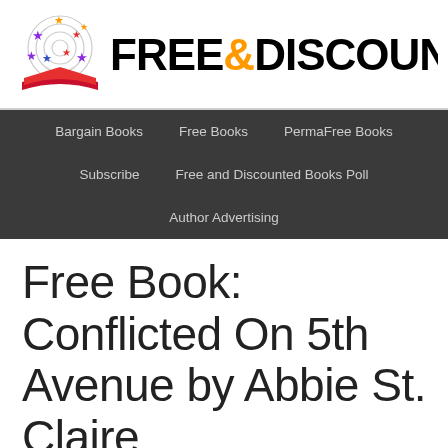[Figure (logo): Free & Discounted Books website logo with colorful stars and open book illustration, followed by site name text 'FREE&DISCOUNTED BOO' (partially visible)]
Bargain Books   Free Books   PermaFree Books   Subscribe   Free and Discounted Books Poll   Author Advertising
Free Book: Conflicted On 5th Avenue by Abbie St. Claire
By Bargain Book Lover — Leave a Comment